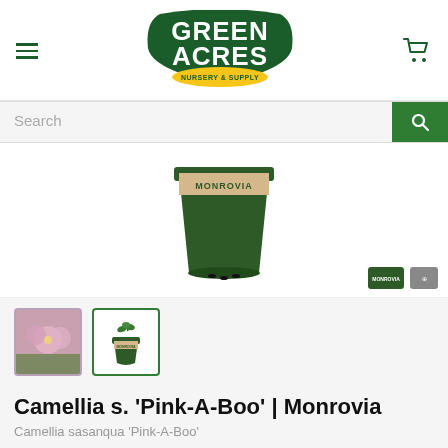Green Acres Nursery & Supply
[Figure (logo): Green Acres Nursery & Supply logo — dark green stylized text with yellow oval badge]
[Figure (photo): Monrovia-branded dark green nursery pot with beige label band reading MONROVIA, on white background]
[Figure (photo): Thumbnail 1: Pink camellia flowers in bloom]
[Figure (photo): Thumbnail 2 (selected): Small Camellia plant in Monrovia pot — currently displayed]
Camellia s. 'Pink-A-Boo' | Monrovia
Camellia sasanqua 'Pink-A-Boo'
Write a review